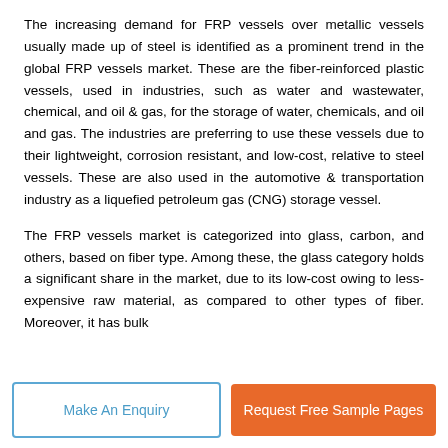The increasing demand for FRP vessels over metallic vessels usually made up of steel is identified as a prominent trend in the global FRP vessels market. These are the fiber-reinforced plastic vessels, used in industries, such as water and wastewater, chemical, and oil & gas, for the storage of water, chemicals, and oil and gas. The industries are preferring to use these vessels due to their lightweight, corrosion resistant, and low-cost, relative to steel vessels. These are also used in the automotive & transportation industry as a liquefied petroleum gas (CNG) storage vessel.
The FRP vessels market is categorized into glass, carbon, and others, based on fiber type. Among these, the glass category holds a significant share in the market, due to its low-cost owing to less-expensive raw material, as compared to other types of fiber. Moreover, it has bulk
Make An Enquiry
Request Free Sample Pages